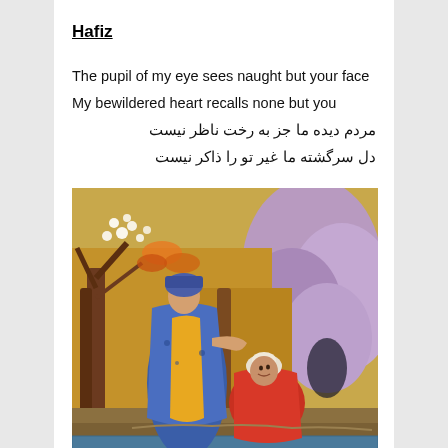Hafiz
The pupil of my eye sees naught but your face
My bewildered heart recalls none but you
مردم دیده ما جز به رخت ناظر نیست
دل سرگشته ما غیر تو را ذاکر نیست
[Figure (illustration): Persian miniature painting depicting two figures in a garden setting with flowering trees and colorful landscape. One figure wearing blue and gold robes stands, while another in red sits reclining.]